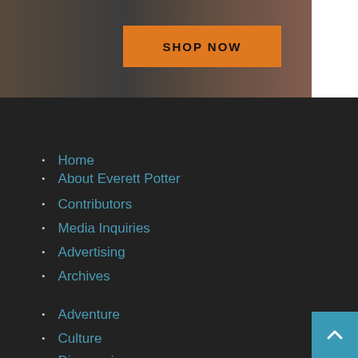[Figure (photo): Partial view of a shop/store image with dark background and people, with a SHOP NOW orange button overlay]
Home
About Everett Potter
Contributors
Media Inquiries
Advertising
Archives
Adventure
Culture
Discoveries